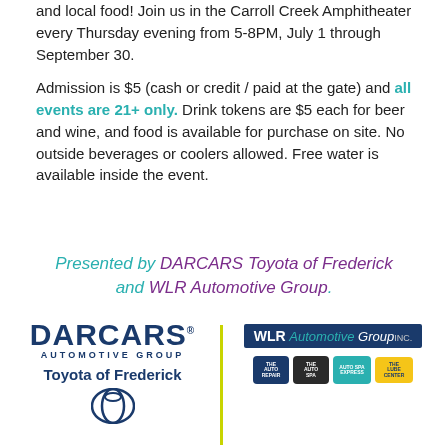and local food! Join us in the Carroll Creek Amphitheater every Thursday evening from 5-8PM, July 1 through September 30.
Admission is $5 (cash or credit / paid at the gate) and all events are 21+ only. Drink tokens are $5 each for beer and wine, and food is available for purchase on site. No outside beverages or coolers allowed. Free water is available inside the event.
Presented by DARCARS Toyota of Frederick and WLR Automotive Group.
[Figure (logo): DARCARS Automotive Group / Toyota of Frederick logo on the left, WLR Automotive Group logo with sub-brand badges on the right, separated by a yellow-green vertical divider line.]